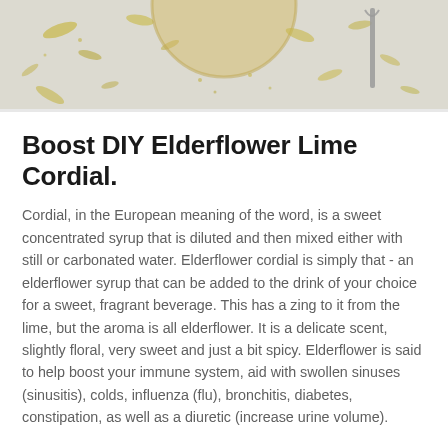[Figure (photo): Top portion of page showing a photograph of elderflower cordial ingredients — a glass bowl or cup with golden/yellow liquid, scattered herbs or flowers, and utensils on a white background.]
Boost DIY Elderflower Lime Cordial.
Cordial, in the European meaning of the word, is a sweet concentrated syrup that is diluted and then mixed either with still or carbonated water. Elderflower cordial is simply that - an elderflower syrup that can be added to the drink of your choice for a sweet, fragrant beverage. This has a zing to it from the lime, but the aroma is all elderflower. It is a delicate scent, slightly floral, very sweet and just a bit spicy. Elderflower is said to help boost your immune system, aid with swollen sinuses (sinusitis), colds, influenza (flu), bronchitis, diabetes, constipation, as well as a diuretic (increase urine volume).